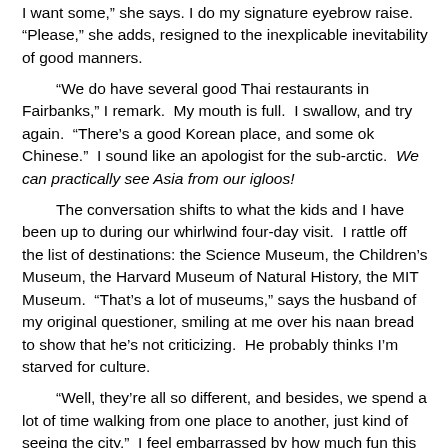I want some,” she says. I do my signature eyebrow raise. “Please,” she adds, resigned to the inexplicable inevitability of good manners.
“We do have several good Thai restaurants in Fairbanks,” I remark. My mouth is full. I swallow, and try again. “There’s a good Korean place, and some ok Chinese.” I sound like an apologist for the sub-arctic. We can practically see Asia from our igloos!
The conversation shifts to what the kids and I have been up to during our whirlwind four-day visit. I rattle off the list of destinations: the Science Museum, the Children’s Museum, the Harvard Museum of Natural History, the MIT Museum. “That’s a lot of museums,” says the husband of my original questioner, smiling at me over his naan bread to show that he’s not criticizing. He probably thinks I’m starved for culture.
“Well, they’re all so different, and besides, we spend a lot of time walking from one place to another, just kind of seeing the city.” I feel embarrassed by how much fun this gawking is for the kids. In Boston they can see a congested cacophony of garbage trucks, fire trucks, construction equipment, ambulances, and people. Hundreds of people,